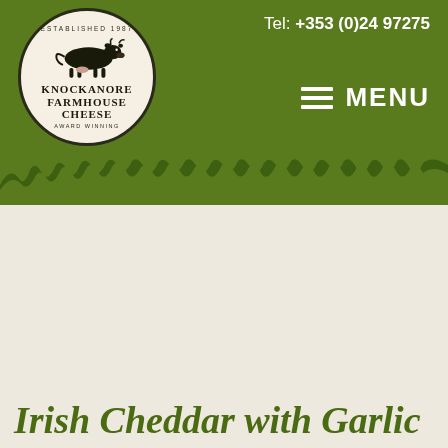Tel: +353 (0)24 97275 | MENU
[Figure (logo): Knockanore Farmhouse Cheese logo — circular badge with a black silhouette cow, 'Established 1987' text around the top, 'KNOCKANORE' and 'FARMHOUSE CHEESE' in the centre, 'Award Winning' text at the bottom, on a cream background.]
Irish Cheddar with Garlic